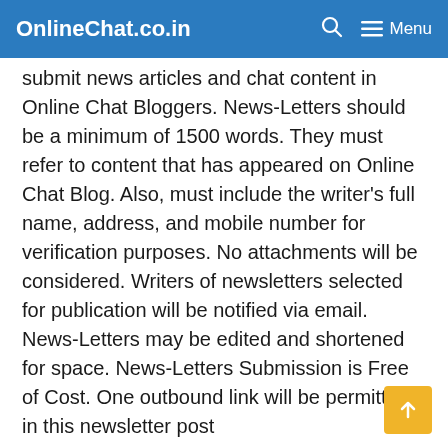OnlineChat.co.in   🔍   ≡ Menu
submit news articles and chat content in Online Chat Bloggers. News-Letters should be a minimum of 1500 words. They must refer to content that has appeared on Online Chat Blog. Also, must include the writer's full name, address, and mobile number for verification purposes. No attachments will be considered. Writers of newsletters selected for publication will be notified via email. News-Letters may be edited and shortened for space. News-Letters Submission is Free of Cost. One outbound link will be permitted in this newsletter post